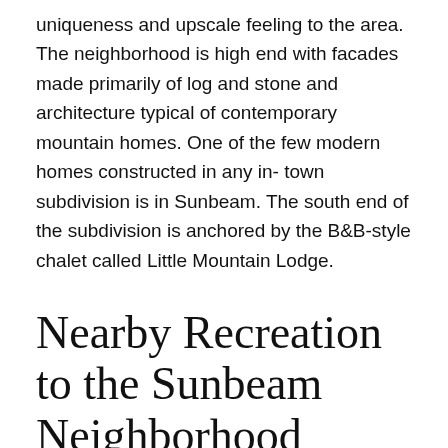uniqueness and upscale feeling to the area. The neighborhood is high end with facades made primarily of log and stone and architecture typical of contemporary mountain homes. One of the few modern homes constructed in any in-town subdivision is in Sunbeam. The south end of the subdivision is anchored by the B&B-style chalet called Little Mountain Lodge.
Nearby Recreation to the Sunbeam Neighborhood
Across Boreas Pass Road from Sunbeam is the Breckenridge Ice Rink. The ice rink has an indoor rink